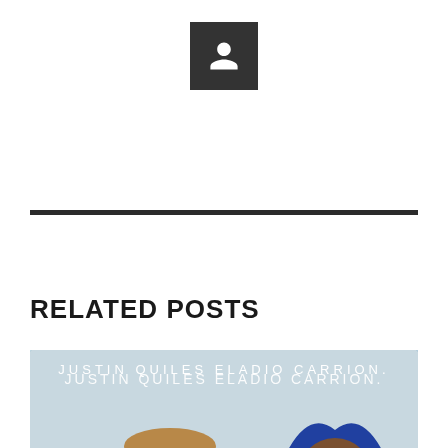[Figure (illustration): Dark grey square avatar/profile icon with a white person silhouette symbol in the center]
RELATED POSTS
[Figure (photo): Music cover art showing two artists Justin Quiles and Eladio Carrion. Text reads 'JUSTIN QUILES ELADIO CARRION' at the top and 'GUCCI • FENDI' in large letters at the bottom. One artist wears a fur hat and green/red outfit, the other wears a blue patterned hoodie.]